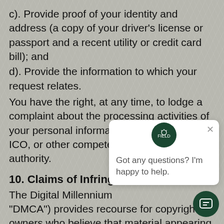c). Provide proof of your identity and address (a copy of your driver's license or passport and a recent utility or credit card bill); and
d). Provide the information to which your request relates.
You have the right, at any time, to lodge a complaint about the processing activities of your personal information by us with the ICO, or other competent supervisory authority.
10. Claims of Infringen
The Digital Millennium
"DMCA") provides recourse for copyright owners who believe that material appearing on the Internet infringes their rights under U.S. copyright law. If you believe in good faith that materials hosted by FIELD
[Figure (screenshot): Chat popup widget from FIELD brand showing 'Got any questions? I'm happy to help.' message with green circular logo and close button, plus a green circular chat button in the bottom right corner.]